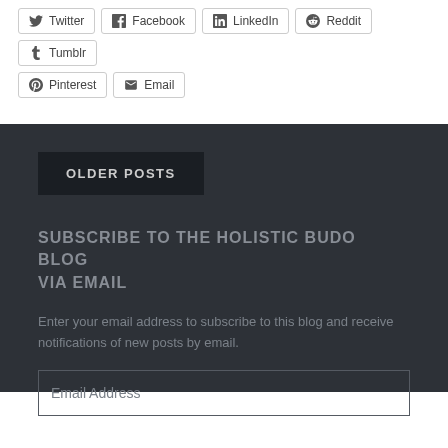Twitter
Facebook
LinkedIn
Reddit
Tumblr
Pinterest
Email
OLDER POSTS
SUBSCRIBE TO THE HOLISTIC BUDO BLOG VIA EMAIL
Enter your email address to subscribe to this blog and receive notifications of new posts by email.
Email Address